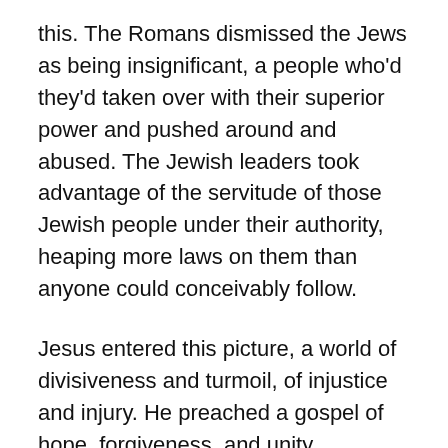this. The Romans dismissed the Jews as being insignificant, a people who'd they'd taken over with their superior power and pushed around and abused. The Jewish leaders took advantage of the servitude of those Jewish people under their authority, heaping more laws on them than anyone could conceivably follow.
Jesus entered this picture, a world of divisiveness and turmoil, of injustice and injury. He preached a gospel of hope, forgiveness, and unity, challenging people to love the Lord with all their heart, soul, mind, and strength, and also love their neighbors as themselves.
When asked who a neighbor was, Jesus shared a